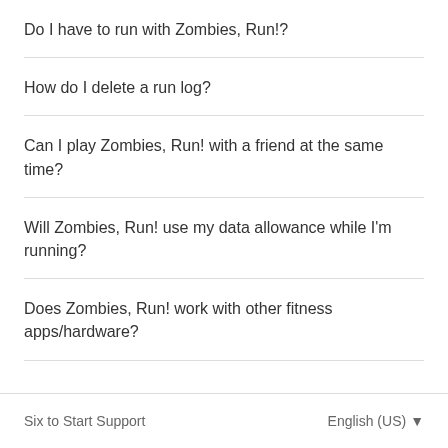Do I have to run with Zombies, Run!?
How do I delete a run log?
Can I play Zombies, Run! with a friend at the same time?
Will Zombies, Run! use my data allowance while I'm running?
Does Zombies, Run! work with other fitness apps/hardware?
Six to Start Support    English (US)